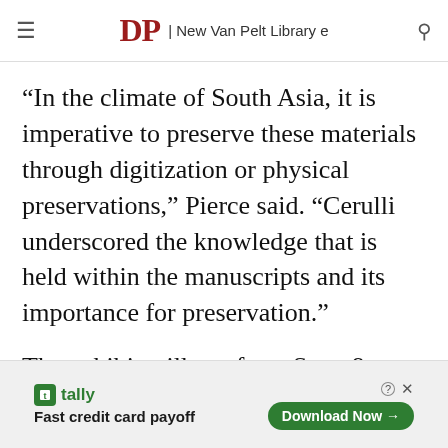DP | New Van Pelt Library e
“In the climate of South Asia, it is imperative to preserve these materials through digitization or physical preservations,” Pierce said. “Cerulli underscored the knowledge that is held within the manuscripts and its importance for preservation.”
The exhibit will run from Sept. 9 to Dec. 13 and is located in Kamin Gallery on the first floor of Van Pelt Library.
[Figure (other): Tally advertisement banner: Fast credit card payoff, with Download Now button]